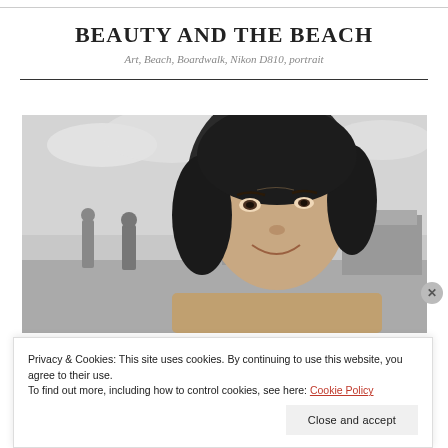BEAUTY AND THE BEACH
Art, Beach, Boardwalk, Nikon D810, portrait
[Figure (photo): Black and white portrait photo of a woman with dark hair, smiling, at a beach boardwalk with people and sky in background]
Privacy & Cookies: This site uses cookies. By continuing to use this website, you agree to their use.
To find out more, including how to control cookies, see here: Cookie Policy
Close and accept